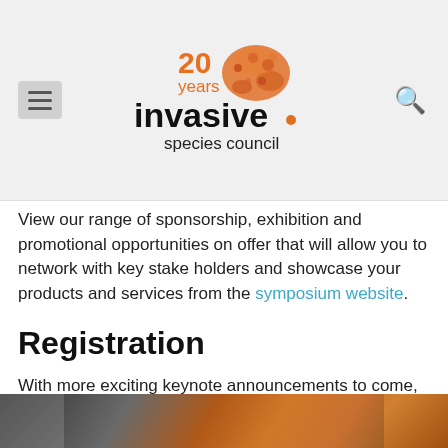Invasive Species Council - 20 years
View our range of sponsorship, exhibition and promotional opportunities on offer that will allow you to network with key stake holders and showcase your products and services from the symposium website.
Registration
With more exciting keynote announcements to come, now is the time secure your registration at the early bird rate!
Contact the Australian Biosecurity Symposium Events Team at symposium@animalhealthaustralia.com.au or on (02) 6232 5522.
[Figure (photo): Photo of an animal in an Australian landscape, partial view at bottom of page]